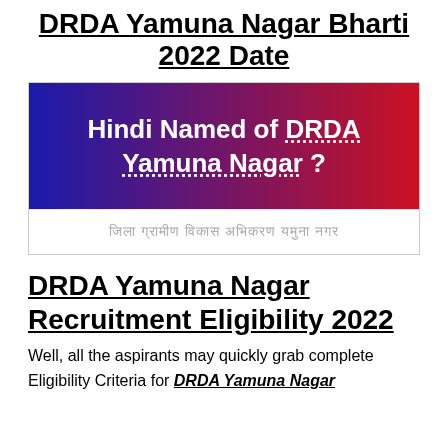DRDA Yamuna Nagar Bharti 2022 Date
[Figure (infographic): Blue to red gradient banner with white bold text reading 'Hindi Named of DRDA Yamuna Nagar ?' with dotted underline on 'DRDA Yamuna Nagar', and a white section below with grey Hindi text]
DRDA Yamuna Nagar Recruitment Eligibility 2022
Well, all the aspirants may quickly grab complete Eligibility Criteria for DRDA Yamuna Nagar